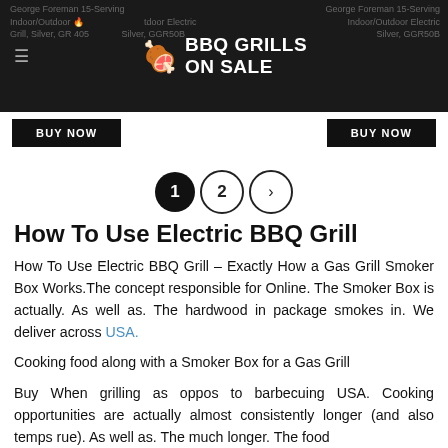BBQ GRILLS ON SALE — header with navigation and product background text
[Figure (screenshot): Buy Now buttons row with two black buttons]
[Figure (other): Pagination circles showing page 1 (active/filled), page 2, and next arrow]
How To Use Electric BBQ Grill
How To Use Electric BBQ Grill – Exactly How a Gas Grill Smoker Box Works.The concept responsible for Online. The Smoker Box is actually. As well as. The hardwood in package smokes in. We deliver across USA.
Cooking food along with a Smoker Box for a Gas Grill
Buy When grilling as oppos to barbecuing USA. Cooking opportunities are actually almost consistently longer (and also temps rue). As well as. The much longer. The food